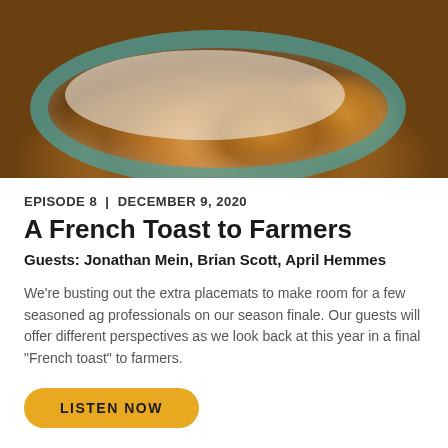[Figure (photo): Photo of French toast on a teal-rimmed plate with utensils on a textured surface]
EPISODE 8  |  DECEMBER 9, 2020
A French Toast to Farmers
Guests: Jonathan Mein, Brian Scott, April Hemmes
We're busting out the extra placemats to make room for a few seasoned ag professionals on our season finale. Our guests will offer different perspectives as we look back at this year in a final “French toast” to farmers.
LISTEN NOW